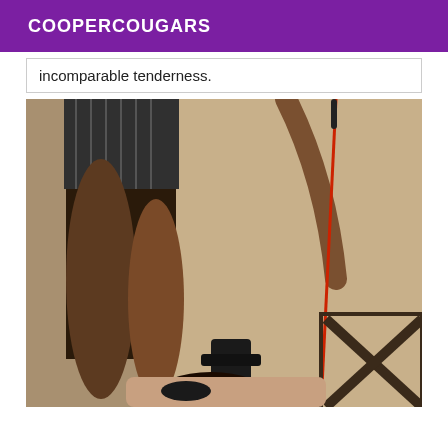COOPERCOUGARS
incomparable tenderness.
[Figure (photo): A person standing over another person, holding a leash/lead with a red cord, wearing a striped skirt and dark stockings.]